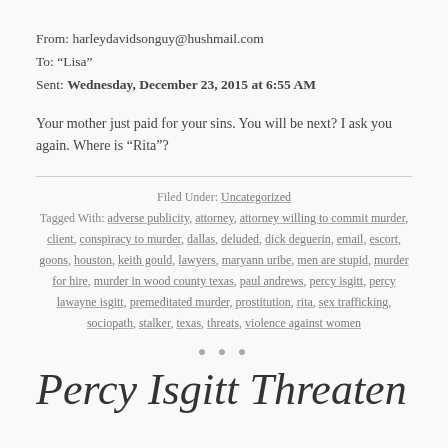From: harleydavidsonguy@hushmail.com
To: “Lisa”
Sent: Wednesday, December 23, 2015 at 6:55 AM
Your mother just paid for your sins. You will be next? I ask you again. Where is “Rita”?
Filed Under: Uncategorized
Tagged With: adverse publicity, attorney, attorney willing to commit murder, client, conspiracy to murder, dallas, deluded, dick deguerin, email, escort, goons, houston, keith gould, lawyers, maryann uribe, men are stupid, murder for hire, murder in wood county texas, paul andrews, percy isgitt, percy lawayne isgitt, premeditated murder, prostitution, rita, sex trafficking, sociopath, stalker, texas, threats, violence against women
Percy Isgitt Threaten's Escort